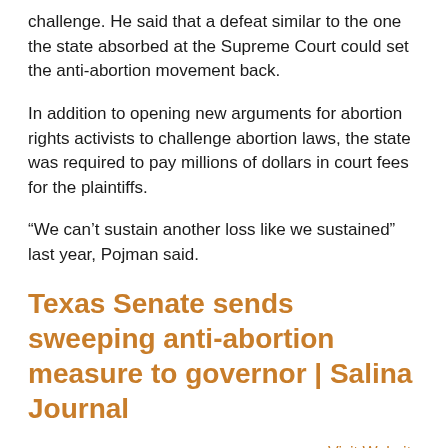challenge. He said that a defeat similar to the one the state absorbed at the Supreme Court could set the anti-abortion movement back.
In addition to opening new arguments for abortion rights activists to challenge abortion laws, the state was required to pay millions of dollars in court fees for the plaintiffs.
“We can’t sustain another loss like we sustained” last year, Pojman said.
Texas Senate sends sweeping anti-abortion measure to governor | Salina Journal
Visit Website